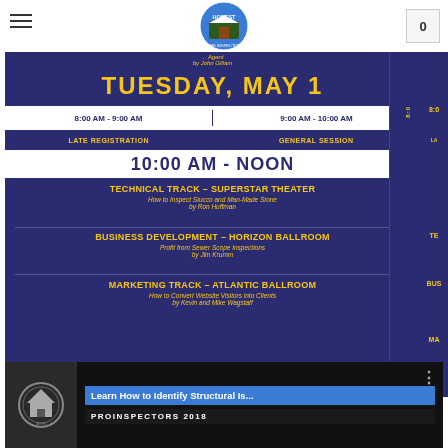Honest Home Inspections LLC - Navigation bar with logo and cart
[Figure (photo): Photo of a conference schedule banner sign. Dark navy blue background with gold/yellow text. TUESDAY, MAY 1 heading. Time slots: 8:00 AM - 9:00 AM (Late Registration) and 9:00 AM - 10:00 AM (General Session). 10:00 AM - NOON block with: Technical Track - Superstar Theater (How to Inspect Stucco and Man-Made Stone by Ron Huffman), Business Development - Horizon Ballroom (Profit from Sewer Scope Inspections by Jim Krumm), Marketing Track - Atlantic Ballroom (How to Convert Website Visitors into Clients by Kevin and Mike Wagstaff). Partial second identical banner visible on right edge.]
[Figure (screenshot): Video thumbnail for 'Learn How to Identify Structural Is...' with PROINSPECTORS 2018 subtitle, shown in a dark video player interface with a circular logo on the left.]